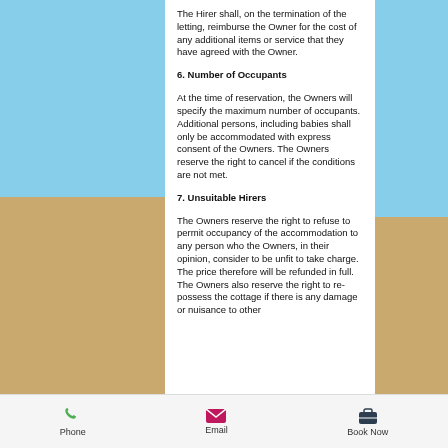The Hirer shall, on the termination of the letting, reimburse the Owner for the cost of any additional items or service that they have agreed with the Owner.
6. Number of Occupants
At the time of reservation, the Owners will specify the maximum number of occupants.  Additional persons, including babies shall only be accommodated with express consent of the Owners.  The Owners reserve the right to cancel if the conditions are not met.
7. Unsuitable Hirers
The Owners reserve the right to refuse to permit occupancy of the accommodation to any person who the Owners, in their opinion, consider to be unfit to take charge.  The price therefore will be refunded in full.  The Owners also reserve the right to re-possess the cottage if there is any damage or nuisance to other
[Figure (infographic): Mobile app bottom navigation toolbar with three icons: Phone (green phone icon), Email (pink/magenta envelope icon), Book Now (dark briefcase icon)]